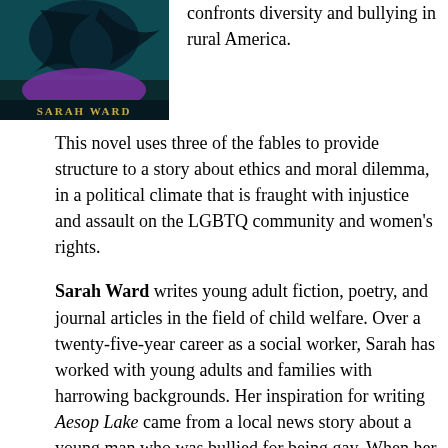[Figure (illustration): Book cover for 'Aesop Lake' by Sarah Ward, dark teal/black background with an abstract bird or animal silhouette, purple curved shape, and the author name 'SARAH WARD' in gold text at the bottom.]
confronts diversity and bullying in rural America.
This novel uses three of the fables to provide structure to a story about ethics and moral dilemma, in a political climate that is fraught with injustice and assault on the LGBTQ community and women's rights.
Sarah Ward writes young adult fiction, poetry, and journal articles in the field of child welfare. Over a twenty-five-year career as a social worker, Sarah has worked with young adults and families with harrowing backgrounds. Her inspiration for writing Aesop Lake came from a local news story about a young man who was bullied for being gay. When her youngest child came out at the age of fourteen and experienced being bullied by peers in rural Vermont, Sarah knew that she had to tell this story. Her depth of f...